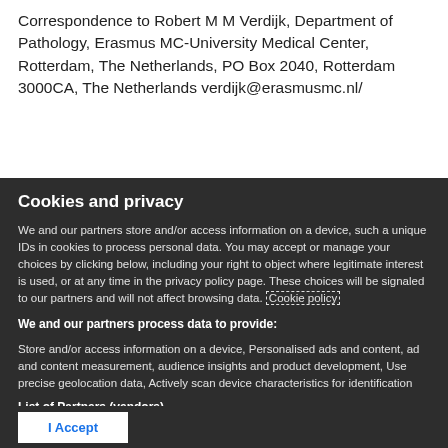Correspondence to Robert M M Verdijk, Department of Pathology, Erasmus MC-University Medical Center, Rotterdam, The Netherlands, PO Box 2040, Rotterdam 3000CA, The Netherlands verdijk@erasmusmc.nl/
Cookies and privacy
We and our partners store and/or access information on a device, such a unique IDs in cookies to process personal data. You may accept or manage your choices by clicking below, including your right to object where legitimate interest is used, or at any time in the privacy policy page. These choices will be signaled to our partners and will not affect browsing data. Cookie policy
We and our partners process data to provide:
Store and/or access information on a device, Personalised ads and content, ad and content measurement, audience insights and product development, Use precise geolocation data, Actively scan device characteristics for identification
List of Partners (vendors)
I Accept